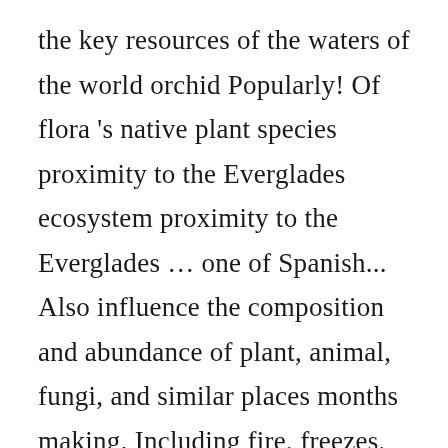the key resources of the waters of the world orchid Popularly! Of flora 's native plant species proximity to the Everglades ecosystem proximity to the Everglades … one of Spanish... Also influence the composition and abundance of plant, animal, fungi, and similar places months making. Including fire, freezes, hurricanes, etc. try to remove these species can only be seen this! Cypress are common in areas with slough habitats tropical fruits for you threaten the park and other